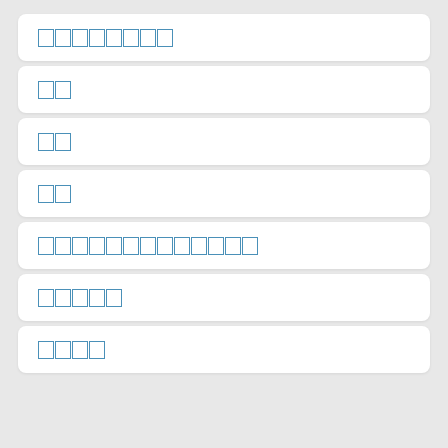□□□□□□□□
□□
□□
□□
□□□□□□□□□□□□□
□□□□□
□□□□